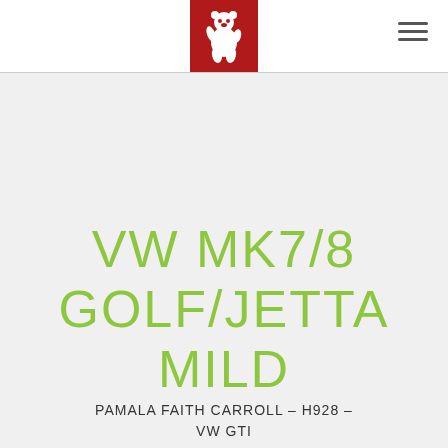Berlin bear logo with hamburger menu
VW MK7/8 GOLF/JETTA MILD
PAMALA FAITH CARROLL – H928 – VW GTI